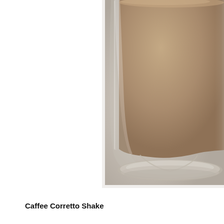[Figure (photo): Close-up photo of a tall glass containing a coffee shake (Caffee Corretto Shake). The glass is a classic footed milkshake glass partially filled with a creamy light brown beverage. The background is a neutral warm grey-beige. Only the right portion of the glass is visible, cropped at the top and right edges.]
Caffee Corretto Shake